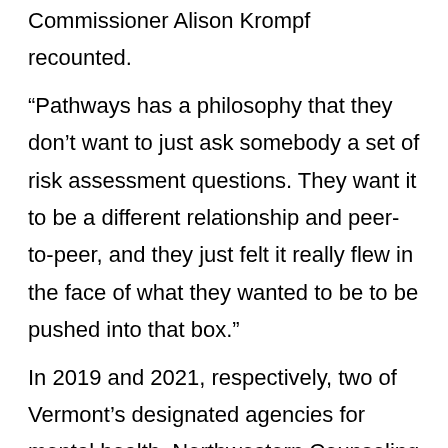Commissioner Alison Krompf recounted.
“Pathways has a philosophy that they don’t want to just ask somebody a set of risk assessment questions. They want it to be a different relationship and peer-to-peer, and they just felt it really flew in the face of what they wanted to be to be pushed into that box.”
In 2019 and 2021, respectively, two of Vermont’s designated agencies for mental health, Northwestern Counseling and Support Services (NCSS) and Northeast Kingdom Human Services (NKHS), earned certification from the Lifeline and, together, now staff it